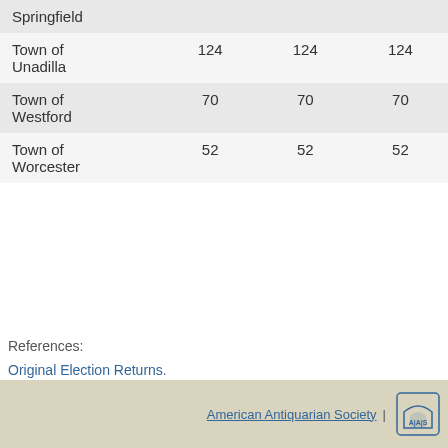|  |  |  |  |
| --- | --- | --- | --- |
| Springfield |  |  |  |
| Town of Unadilla | 124 | 124 | 124 |
| Town of Westford | 70 | 70 | 70 |
| Town of Worcester | 52 | 52 | 52 |
References:
Original Election Returns.
Cooperstown Federalist (Cooperstown, NY). May 23, 1816.
The Columbian. (For the Country) (New York, NY). June 1, 1816.
These election records were released on 11 January 2012. Versions numbers are assigned to Michigan, Missouri, North Carolina, Ohio, Rhode Island, South Carolina, Tennessee and page.
American Antiquarian Society